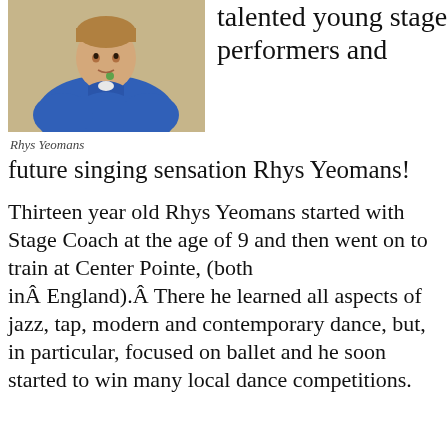[Figure (photo): Photo of Rhys Yeomans, a young person wearing a blue top with a logo]
talented young stage performers and future singing sensation Rhys Yeomans!
Rhys Yeomans
Thirteen year old Rhys Yeomans started with Stage Coach at the age of 9 and then went on to train at Center Pointe, (both inÂ England).Â There he learned all aspects of jazz, tap, modern and contemporary dance, but, in particular, focused on ballet and he soon started to win many local dance competitions.